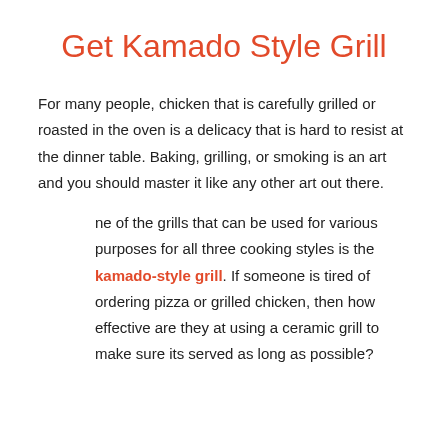Get Kamado Style Grill
For many people, chicken that is carefully grilled or roasted in the oven is a delicacy that is hard to resist at the dinner table. Baking, grilling, or smoking is an art and you should master it like any other art out there.
One of the grills that can be used for various purposes for all three cooking styles is the kamado-style grill. If someone is tired of ordering pizza or grilled chicken, then how effective are they at using a ceramic grill to make sure its served as long as possible?